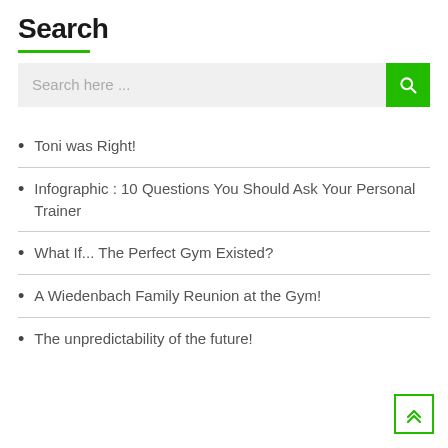Search
[Figure (other): Search input bar with placeholder text 'Search here ...' and a green search button with magnifying glass icon]
Toni was Right!
Infographic : 10 Questions You Should Ask Your Personal Trainer
What If... The Perfect Gym Existed?
A Wiedenbach Family Reunion at the Gym!
The unpredictability of the future!